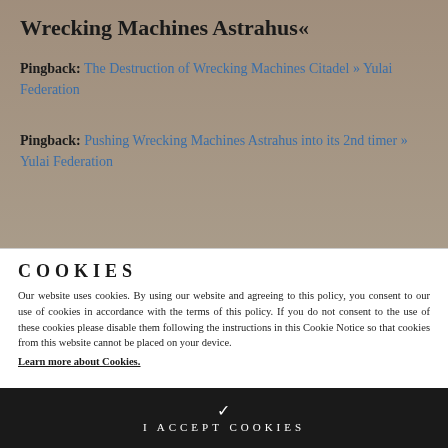Wrecking Machines Astrahus«
Pingback: The Destruction of Wrecking Machines Citadel » Yulai Federation
Pingback: Pushing Wrecking Machines Astrahus into its 2nd timer » Yulai Federation
COOKIES
Our website uses cookies. By using our website and agreeing to this policy, you consent to our use of cookies in accordance with the terms of this policy. If you do not consent to the use of these cookies please disable them following the instructions in this Cookie Notice so that cookies from this website cannot be placed on your device.
Learn more about Cookies.
I ACCEPT COOKIES